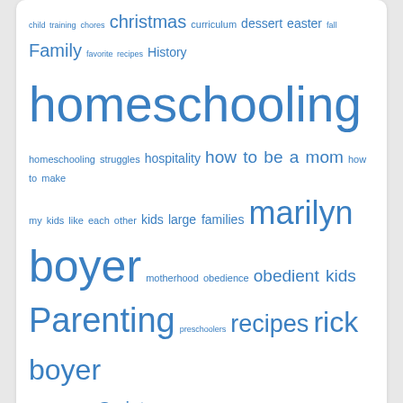[Figure (other): Tag cloud with blue hyperlinked words of various sizes related to homeschooling, parenting, family topics. Words include: child training, chores, christmas, curriculum, dessert, easter, fall, Family, favorite recipes, History, homeschooling, homeschooling struggles, hospitality, how to be a mom, how to make my kids like each other, kids, large families, marilyn boyer, motherhood, obedience, obedient kids, Parenting, preschoolers, recipes, rick boyer, savor the season, Scripture memory, serving others, siblings, Study, teaching obedience, Thanksgiving, the boyers, who are the boyers]
Who We Are
[Figure (photo): Photo of a smiling couple, woman on left with brown hair wearing dark floral top and necklace, man on right with gray hair wearing glasses and blue shirt, wooden structure and greenery in background]